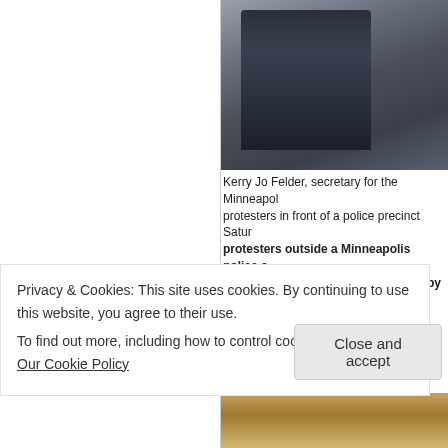[Figure (photo): Photo of a person in a dark jacket, likely at a protest scene outside a police precinct, partially cropped.]
Kerry Jo Felder, secretary for the Minneapolis protesters in front of a police precinct Saturday. protesters outside a Minneapolis police station demand video of the death of a black man who was shot by police be released — and footage of the encounter are released and authorities... Kyndell Harkness (Minneapolis-St. Paul) Star Tribune
By GREG MOORE Associated Press
Read more here: http://www.charlotteobs...
...ton...
[Figure (photo): Partial bottom photo strip showing protest signs or text in warm tones.]
Privacy & Cookies: This site uses cookies. By continuing to use this website, you agree to their use. To find out more, including how to control cookies, see here: Our Cookie Policy
Close and accept